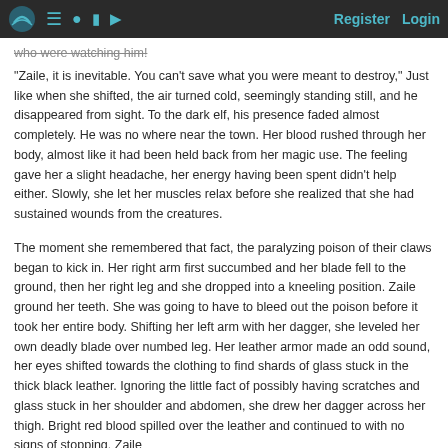Register  Login
who were watching him!
"Zaile, it is inevitable. You can't save what you were meant to destroy," Just like when she shifted, the air turned cold, seemingly standing still, and he disappeared from sight. To the dark elf, his presence faded almost completely. He was no where near the town. Her blood rushed through her body, almost like it had been held back from her magic use. The feeling gave her a slight headache, her energy having been spent didn't help either. Slowly, she let her muscles relax before she realized that she had sustained wounds from the creatures.
The moment she remembered that fact, the paralyzing poison of their claws began to kick in. Her right arm first succumbed and her blade fell to the ground, then her right leg and she dropped into a kneeling position. Zaile ground her teeth. She was going to have to bleed out the poison before it took her entire body. Shifting her left arm with her dagger, she leveled her own deadly blade over numbed leg. Her leather armor made an odd sound, her eyes shifted towards the clothing to find shards of glass stuck in the thick black leather. Ignoring the little fact of possibly having scratches and glass stuck in her shoulder and abdomen, she drew her dagger across her thigh. Bright red blood spilled over the leather and continued to with no signs of stopping. Zaile